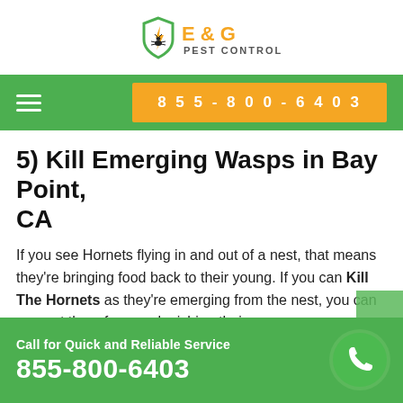[Figure (logo): E & G Pest Control logo with shield icon containing a lightning bolt and bug, orange and black text]
[Figure (other): Green navigation bar with white hamburger menu icon on left and orange phone number button '855-800-6403' on right]
5) Kill Emerging Wasps in Bay Point, CA
If you see Hornets flying in and out of a nest, that means they're bringing food back to their young. If you can Kill The Hornets as they're emerging from the nest, you can prevent them from replenishing their
Call for Quick and Reliable Service
855-800-6403